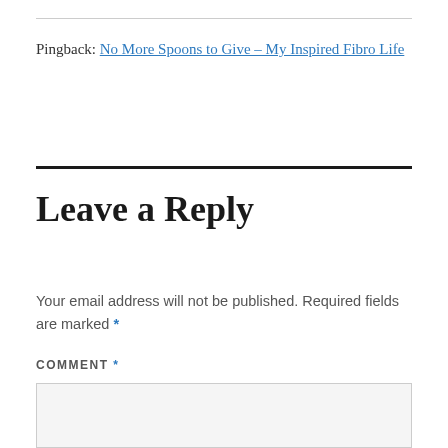Pingback: No More Spoons to Give – My Inspired Fibro Life
Leave a Reply
Your email address will not be published. Required fields are marked *
COMMENT *